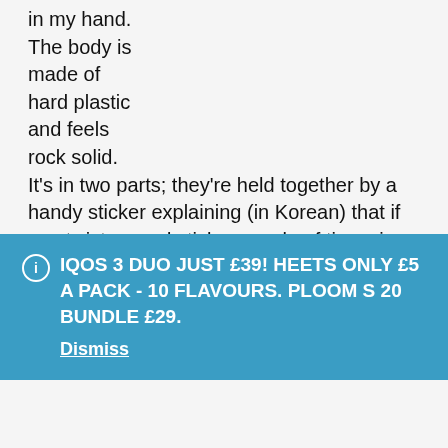in my hand. The body is made of hard plastic and feels rock solid. It's in two parts; they're held together by a handy sticker explaining (in Korean) that if you twist a used stick a couple of times in each direction before pulling it out, it won't leave the tobacco stuck on the spike. I wish I'd known this before trying the iBuddy, but anyway, if you
IQOS 3 DUO JUST £39! HEETS ONLY £5 A PACK - 10 FLAVOURS. PLOOM S 20 BUNDLE £29. Dismiss